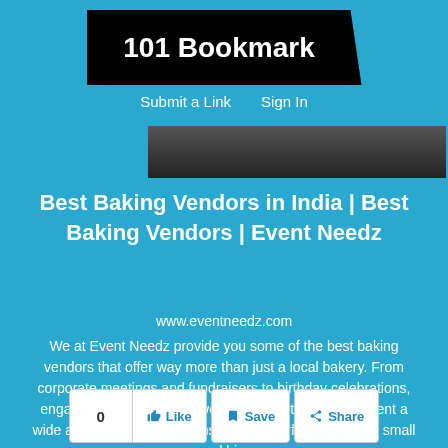101 Bookmark
Submit a Link   Sign In
[Figure (screenshot): Dark image strip / thumbnail preview area]
Best Baking Vendors in India | Best Baking Vendors | Event Needz
www.eventneedz.com
We at Event Needz provide you some of the best baking vendors that offer way more than just a local bakery. From corporate meetings and fundraisers to birthday celebrations, engagement parties, and wedding receptions, we present a wide array of catering options that are perfect for events small and big.
0   Like   Save   Share